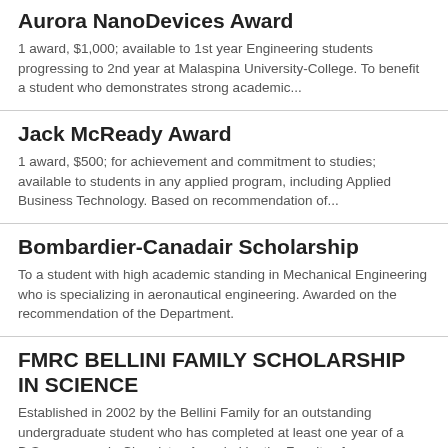Aurora NanoDevices Award
1 award, $1,000; available to 1st year Engineering students progressing to 2nd year at Malaspina University-College. To benefit a student who demonstrates strong academic...
Jack McReady Award
1 award, $500; for achievement and commitment to studies; available to students in any applied program, including Applied Business Technology. Based on recommendation of...
Bombardier-Canadair Scholarship
To a student with high academic standing in Mechanical Engineering who is specializing in aeronautical engineering. Awarded on the recommendation of the Department.
FMRC BELLINI FAMILY SCHOLARSHIP IN SCIENCE
Established in 2002 by the Bellini Family for an outstanding undergraduate student who has completed at least one year of a B.Sc. program in Chemistry. Awarded by the Faculty of...
John H. Mahon Scholarships